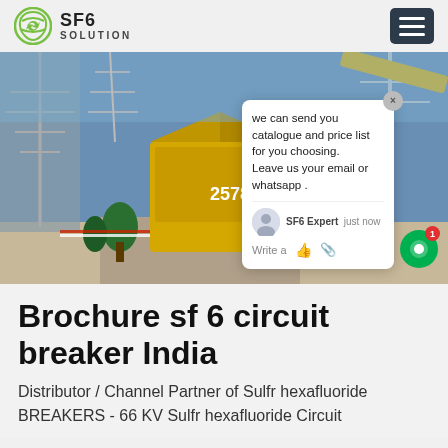SF6 SOLUTION
[Figure (photo): Outdoor electrical substation with high-voltage equipment, yellow truck/container with number 2578, transmission towers, and an SF6 chat popup overlay showing a message about sending catalogue and price list. Avatar of SF6 Expert, write field with thumbs up and paper clip icons.]
Brochure sf 6 circuit breaker India
Distributor / Channel Partner of Sulfr hexafluoride BREAKERS - 66 KV Sulfr hexafluoride Circuit